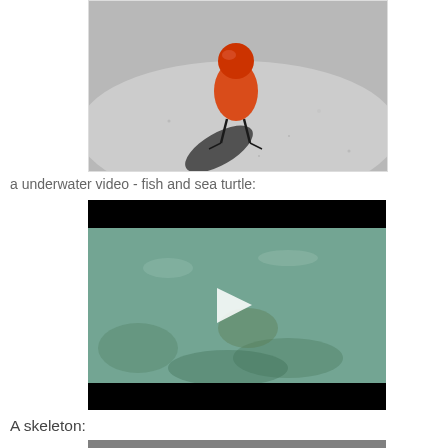[Figure (photo): A small red/orange bird standing on a gray rock, photographed from above, with a dark shadow visible on the rock surface.]
a underwater video - fish and sea turtle:
[Figure (screenshot): A video player showing an underwater scene with murky green-teal water, with a white play button triangle in the center and black bars at top and bottom.]
A skeleton:
[Figure (photo): Partially visible photo at bottom of page, appears to be a skeleton image.]